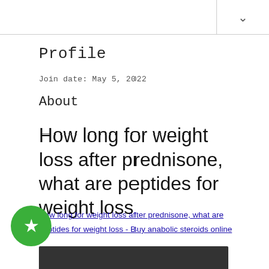Profile
Join date: May 5, 2022
About
How long for weight loss after prednisone, what are peptides for weight loss
How long for weight loss after prednisone, what are peptides for weight loss - Buy anabolic steroids online
[Figure (photo): Dark image at the bottom of the page]